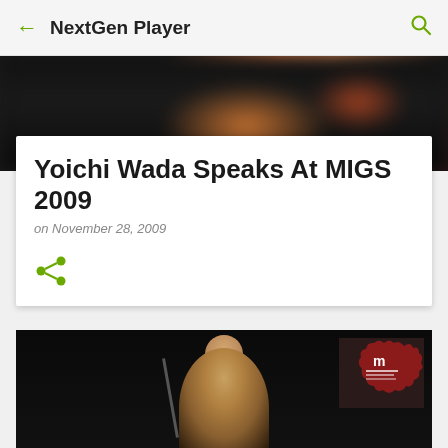NextGen Player
[Figure (photo): Blurred abstract background image with dark and warm orange tones]
Yoichi Wada Speaks At MIGS 2009
on November 28, 2009
[Figure (photo): Photo of a man in a suit speaking at a podium at the MIGS (Summit International du Jeu de Montreal) conference, with a MIGS logo visible in the top right corner]